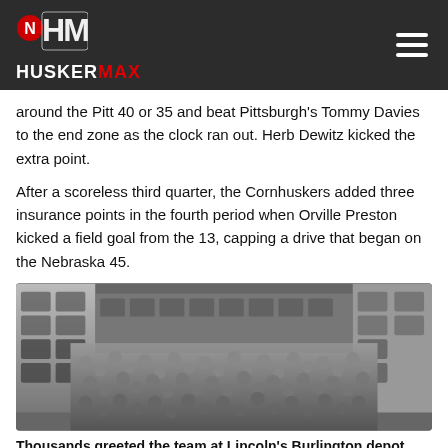HUSKERMAX
around the Pitt 40 or 35 and beat Pittsburgh's Tommy Davies to the end zone as the clock ran out. Herb Dewitz kicked the extra point.
After a scoreless third quarter, the Cornhuskers added three insurance points in the fourth period when Orville Preston kicked a field goal from the 13, capping a drive that began on the Nebraska 45.
[Figure (photo): Black and white historical photograph of thousands of people crowded around train cars at Lincoln's Burlington depot]
Thousands greeted the team at Lincoln's Burlington depot.
Back in Lincoln, Monday's 8 and 9 a.m. classes were canceled